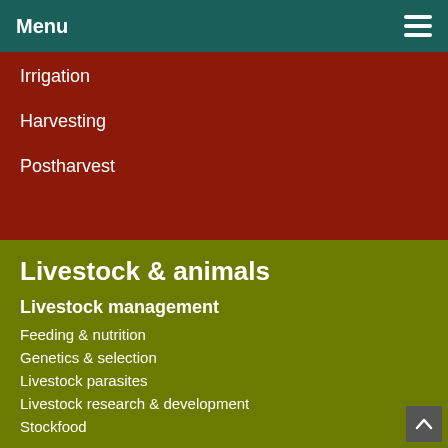Menu
Irrigation
Harvesting
Postharvest
Livestock & animals
Livestock management
Feeding & nutrition
Genetics & selection
Livestock parasites
Livestock research & development
Stockfood